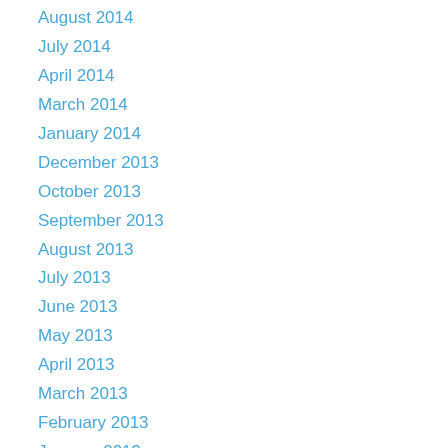August 2014
July 2014
April 2014
March 2014
January 2014
December 2013
October 2013
September 2013
August 2013
July 2013
June 2013
May 2013
April 2013
March 2013
February 2013
January 2013
December 2012
November 2012
October 2012
September 2012